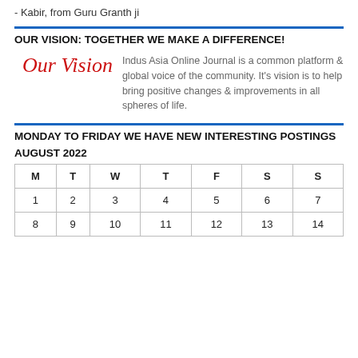- Kabir, from Guru Granth ji
OUR VISION: TOGETHER WE MAKE A DIFFERENCE!
[Figure (illustration): Red cursive script logo reading 'Our Vision']
Indus Asia Online Journal is a common platform & global voice of the community. It's vision is to help bring positive changes & improvements in all spheres of life.
MONDAY TO FRIDAY WE HAVE NEW INTERESTING POSTINGS
AUGUST 2022
| M | T | W | T | F | S | S |
| --- | --- | --- | --- | --- | --- | --- |
| 1 | 2 | 3 | 4 | 5 | 6 | 7 |
| 8 | 9 | 10 | 11 | 12 | 13 | 14 |